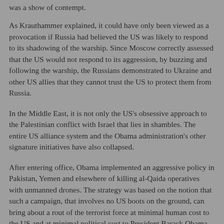was a show of contempt.
As Krauthammer explained, it could have only been viewed as a provocation if Russia had believed the US was likely to respond to its shadowing of the warship. Since Moscow correctly assessed that the US would not respond to its aggression, by buzzing and following the warship, the Russians demonstrated to Ukraine and other US allies that they cannot trust the US to protect them from Russia.
In the Middle East, it is not only the US's obsessive approach to the Palestinian conflict with Israel that lies in shambles. The entire US alliance system and the Obama administration's other signature initiatives have also collapsed.
After entering office, Obama implemented an aggressive policy in Pakistan, Yemen and elsewhere of killing al-Qaida operatives with unmanned drones. The strategy was based on the notion that such a campaign, that involves no US boots on the ground, can bring about a rout of the terrorist force at minimal human cost to the US and at minimal political cost to President Barack Obama.